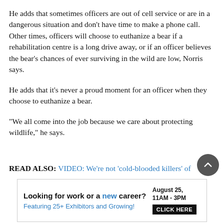He adds that sometimes officers are out of cell service or are in a dangerous situation and don't have time to make a phone call. Other times, officers will choose to euthanize a bear if a rehabilitation centre is a long drive away, or if an officer believes the bear's chances of ever surviving in the wild are low, Norris says.
He adds that it's never a proud moment for an officer when they choose to euthanize a bear.
“We all come into the job because we care about protecting wildlife,” he says.
READ ALSO: VIDEO: We’re not ‘cold-blooded killers’ of
[Figure (screenshot): Advertisement banner: Looking for work or a new career? August 25, 11AM-3PM. Featuring 25+ Exhibitors and Growing! CLICK HERE]